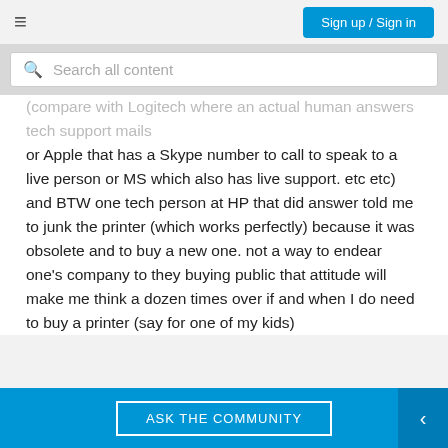Sign up / Sign in
(compare with Logitech where an actual human answers tech support mails or Apple that has a Skype number to call to speak to a live person or MS which also has live support. etc etc) and BTW one tech person at HP that did answer told me to junk the printer (which works perfectly) because it was obsolete and to buy a new one. not a way to endear one's company to they buying public that attitude will make me think a dozen times over if and when I do need to buy a printer (say for one of my kids)
ASK THE COMMUNITY